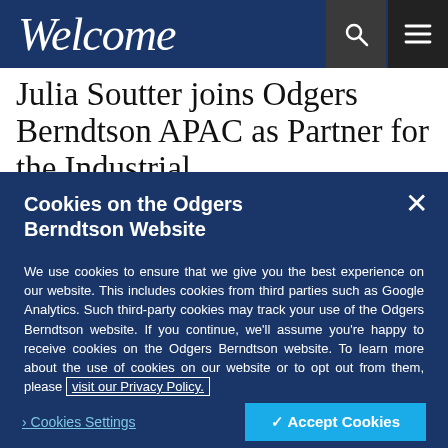Welcome
Julia Soutter joins Odgers Berndtson APAC as Partner for the Industrial
Cookies on the Odgers Berndtson Website
We use cookies to ensure that we give you the best experience on our website. This includes cookies from third parties such as Google Analytics. Such third-party cookies may track your use of the Odgers Berndtson website. If you continue, we'll assume you're happy to receive cookies on the Odgers Berndtson website. To learn more about the use of cookies on our website or to opt out from them, please visit our Privacy Policy.
› Cookies Settings
✔ Accept Cookies